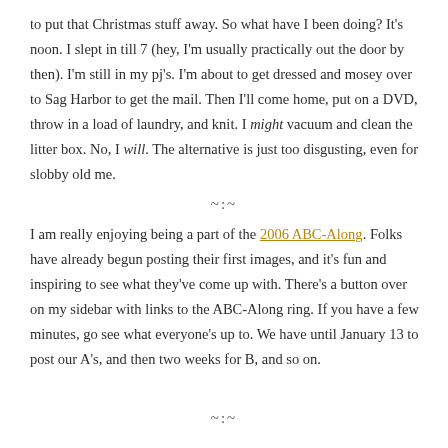to put that Christmas stuff away. So what have I been doing? It's noon. I slept in till 7 (hey, I'm usually practically out the door by then). I'm still in my pj's. I'm about to get dressed and mosey over to Sag Harbor to get the mail. Then I'll come home, put on a DVD, throw in a load of laundry, and knit. I might vacuum and clean the litter box. No, I will. The alternative is just too disgusting, even for slobby old me.
~:~
I am really enjoying being a part of the 2006 ABC-Along. Folks have already begun posting their first images, and it's fun and inspiring to see what they've come up with. There's a button over on my sidebar with links to the ABC-Along ring. If you have a few minutes, go see what everyone's up to. We have until January 13 to post our A's, and then two weeks for B, and so on.
~:~